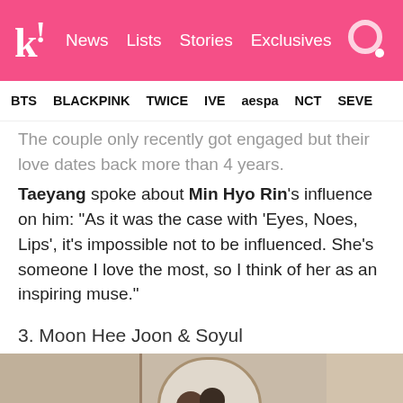k! News Lists Stories Exclusives
BTS BLACKPINK TWICE IVE aespa NCT SEVE
The couple only recently got engaged but their love dates back more than 4 years. Taeyang spoke about Min Hyo Rin's influence on him: “As it was the case with ‘Eyes, Noes, Lips’, it’s impossible not to be influenced. She’s someone I love the most, so I think of her as an inspiring muse.”
3. Moon Hee Joon & Soyul
[Figure (photo): Photo of a couple, likely Moon Hee Joon and Soyul, posing together in a room with arch-shaped windows or doorways]